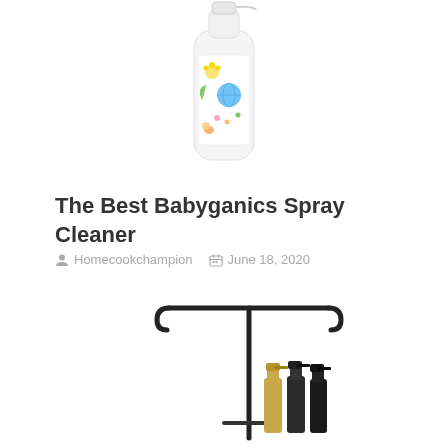[Figure (photo): Babyganics spray cleaner bottle with colorful cartoon illustrations on the label, white plastic bottle with a pump sprayer, partially cropped at top]
The Best Babyganics Spray Cleaner
Homecookchampion   June 18, 2020
[Figure (photo): Garden flag stand or holder made of black metal wire frame, with small spray bottles visible at the base, partially cropped at bottom of page]